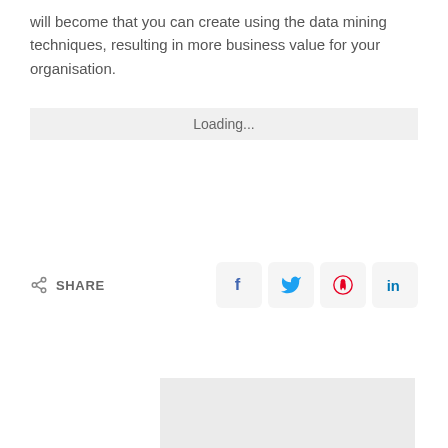will become that you can create using the data mining techniques, resulting in more business value for your organisation.
[Figure (screenshot): Loading bar with 'Loading...' text on a light grey background]
SHARE (with social media icons for Facebook, Twitter, Pinterest, LinkedIn)
[Figure (photo): Grey placeholder image at bottom of page]